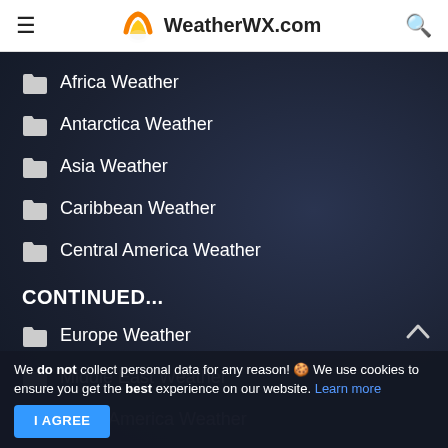WeatherWX.com
Africa Weather
Antarctica Weather
Asia Weather
Caribbean Weather
Central America Weather
CONTINUED...
Europe Weather
Middle East Weather
North America Weather
South America Weather
We do not collect personal data for any reason! 🍪 We use cookies to ensure you get the best experience on our website. Learn more I AGREE